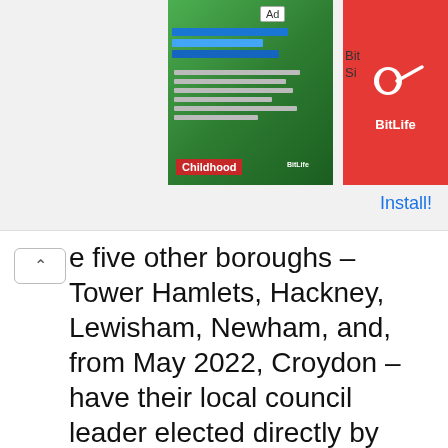[Figure (screenshot): Advertisement banner for BitLife app showing childhood game screenshot and red BitLife icon with Install button]
e five other boroughs – Tower Hamlets, Hackney, Lewisham, Newham, and, from May 2022, Croydon – have their local council leader elected directly by voters in an executive mayoral system.
How do I vote if I have Covid?
Electors have until 5pm on polling day to apply for an emergency proxy vote.
This means you can choose a close relative